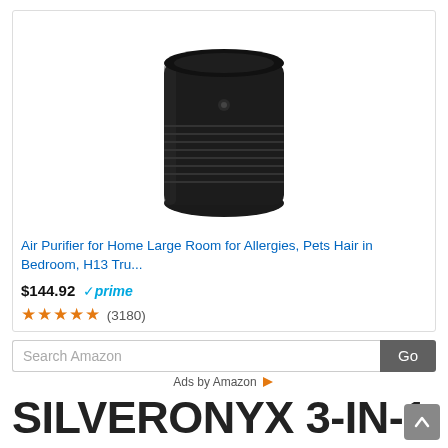[Figure (photo): Black cylindrical air purifier product photo on white background inside a product card]
Air Purifier for Home Large Room for Allergies, Pets Hair in Bedroom, H13 Tru...
$144.92 ✓prime ★★★★★ (3180)
Search Amazon [Go button]
Ads by Amazon ▷
SILVERONYX 3-IN-1 POWER CONSUMPTION
In Breathe Quality, one of our most FAQs is "D